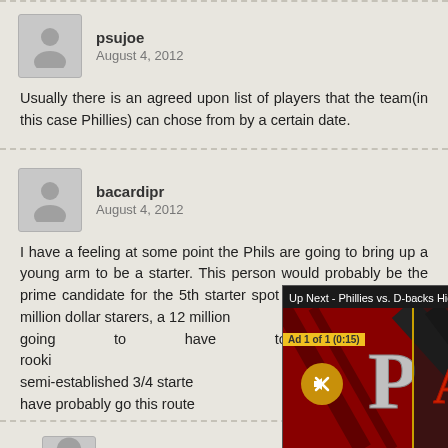psujoe
August 4, 2012
Usually there is an agreed upon list of players that the team(in this case Phillies) can chose from by a certain date.
bacardipr
August 4, 2012
I have a feeling at some point the Phils are going to bring up a young arm to be a starter. This person would probably be the prime candidate for the 5th starter spot next year. With 3 20+ million dollar starers, a 12 million going to have to be a rookie or semi-established 3/4 starter have probably go this route
[Figure (screenshot): Video overlay popup showing 'Up Next - Phillies vs. D-backs Highlights ...' with an X close button, Ad 1 of 1 (0:15) label, a mute button, and a baseball-themed video thumbnail showing the Phillies P logo and D-backs logo]
EricL
August 4, 2012
Tyler Cloyd is tearing up